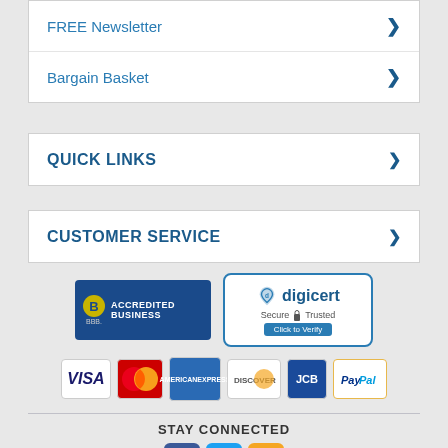FREE Newsletter
Bargain Basket
QUICK LINKS
CUSTOMER SERVICE
[Figure (logo): BBB Accredited Business badge and DigiCert Secure Trusted Click to Verify badge]
[Figure (logo): Payment method logos: Visa, MasterCard, American Express, Discover, JCB, PayPal]
STAY CONNECTED
[Figure (logo): Social media icons: Facebook, Twitter, Blog]